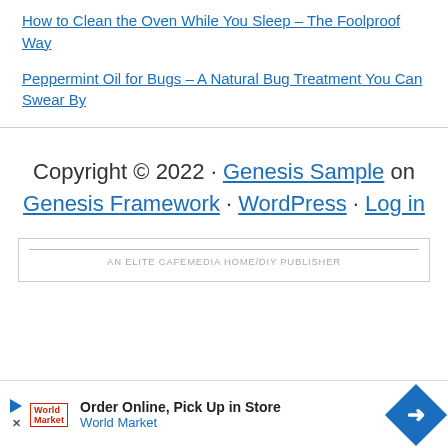How to Clean the Oven While You Sleep – The Foolproof Way
Peppermint Oil for Bugs – A Natural Bug Treatment You Can Swear By
Copyright © 2022 · Genesis Sample on Genesis Framework · WordPress · Log in
AN ELITE CAFEMEDIA HOME/DIY PUBLISHER
[Figure (other): Advertisement banner: Order Online, Pick Up in Store – World Market with blue diamond arrow icon]